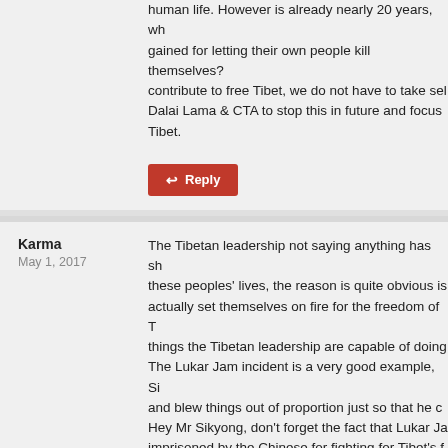human life. However is already nearly 20 years, wh gained for letting their own people kill themselves? contribute to free Tibet, we do not have to take sel Dalai Lama & CTA to stop this in future and focus Tibet.
Reply
Karma
May 1, 2017
The Tibetan leadership not saying anything has sh these peoples' lives, the reason is quite obvious is actually set themselves on fire for the freedom of T things the Tibetan leadership are capable of doing The Lukar Jam incident is a very good example, Si and blew things out of proportion just so that he c Hey Mr Sikyong, don't forget the fact that Lukar Ja imprisoned by the Chinese for fighting for Tibet's f personally done for Tibet?
Reply
Elibuchen
May 6, 2017
In the history if Buddhism, it has never condoned s